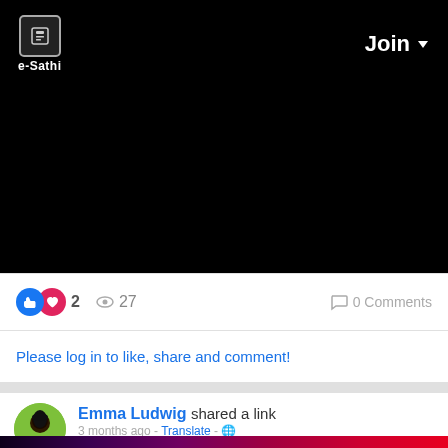e-Sathi   Join
[Figure (screenshot): Black video player area]
2  27  0 Comments
Please log in to like, share and comment!
Emma Ludwig shared a link
3 months ago - Translate -
What to opt between live performance and DJ in marriage - https://bit.ly/3M0vFwe
#dj #marriage #wedding #music
[Figure (photo): Dark colorful background image at bottom, purple to red gradient]